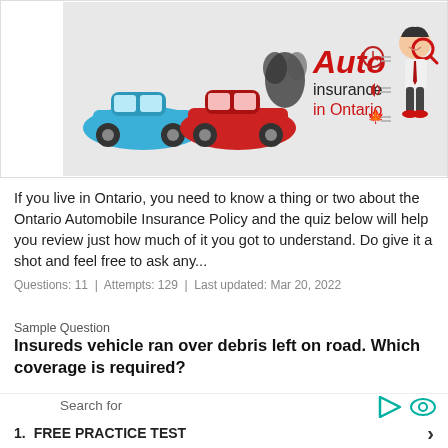[Figure (illustration): Banner image with two cars crashing (blue and red), text 'Auto insurance in Ontario' in red, and a cartoon businessman with magnifying glass. Gray background.]
If you live in Ontario, you need to know a thing or two about the Ontario Automobile Insurance Policy and the quiz below will help you review just how much of it you got to understand. Do give it a shot and feel free to ask any...
Questions: 11  |  Attempts: 129  |  Last updated: Mar 20, 2022
Sample Question
Insureds vehicle ran over debris left on road. Which coverage is required?
Collision
1.  FREE PRACTICE TEST